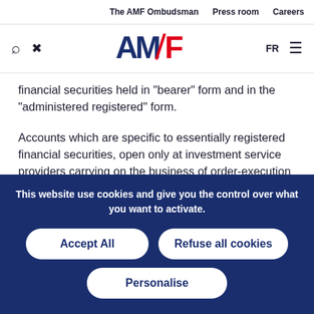The AMF Ombudsman   Press room   Careers
[Figure (logo): AMF logo with search and tools icons on left, FR language toggle and hamburger menu on right]
financial securities held in "bearer" form and in the "administered registered" form.
Accounts which are specific to essentially registered financial securities, open only at investment service providers carrying on the business of order-execution on behalf of third parties and trading on their own account, shall register at the central depository for the issue the
This website use cookies and give you the control over what you want to activate.
Accept All
Refuse all cookies
Personalise